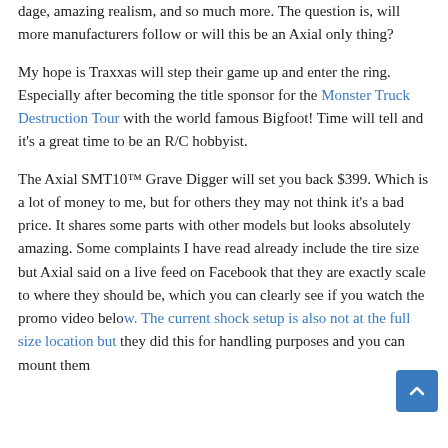dage, amazing realism, and so much more. The question is, will more manufacturers follow or will this be an Axial only thing?
My hope is Traxxas will step their game up and enter the ring. Especially after becoming the title sponsor for the Monster Truck Destruction Tour with the world famous Bigfoot! Time will tell and it's a great time to be an R/C hobbyist.
The Axial SMT10™ Grave Digger will set you back $399. Which is a lot of money to me, but for others they may not think it's a bad price. It shares some parts with other models but looks absolutely amazing. Some complaints I have read already include the tire size but Axial said on a live feed on Facebook that they are exactly scale to where they should be, which you can clearly see if you watch the promo video below. The current shock setup is also not at the full size location but they did this for handling purposes and you can mount them